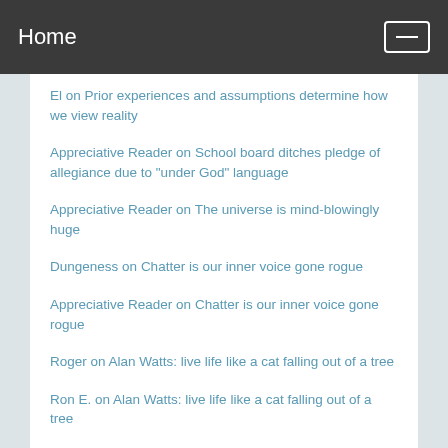Home
El on Prior experiences and assumptions determine how we view reality
Appreciative Reader on School board ditches pledge of allegiance due to "under God" language
Appreciative Reader on The universe is mind-blowingly huge
Dungeness on Chatter is our inner voice gone rogue
Appreciative Reader on Chatter is our inner voice gone rogue
Roger on Alan Watts: live life like a cat falling out of a tree
Ron E. on Alan Watts: live life like a cat falling out of a tree
Appreciative Reader on Alan Watts: live life like a cat falling out of a tree